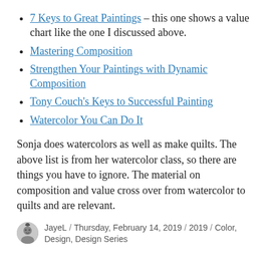7 Keys to Great Paintings – this one shows a value chart like the one I discussed above.
Mastering Composition
Strengthen Your Paintings with Dynamic Composition
Tony Couch's Keys to Successful Painting
Watercolor You Can Do It
Sonja does watercolors as well as make quilts. The above list is from her watercolor class, so there are things you have to ignore. The material on composition and value cross over from watercolor to quilts and are relevant.
JayeL / Thursday, February 14, 2019 / 2019 / Color, Design, Design Series